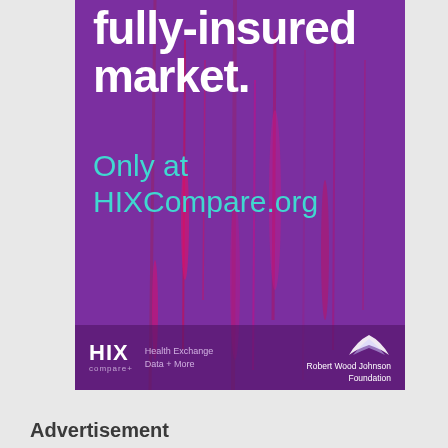[Figure (illustration): Advertisement for HIXCompare.org on a purple background with pink light streaks. Large white bold text reads 'fully-insured market.' Teal text below reads 'Only at HIXCompare.org'. Footer shows HIX compare+ logo, Health Exchange Data + More tagline, and Robert Wood Johnson Foundation logo with wing emblem.]
Advertisement